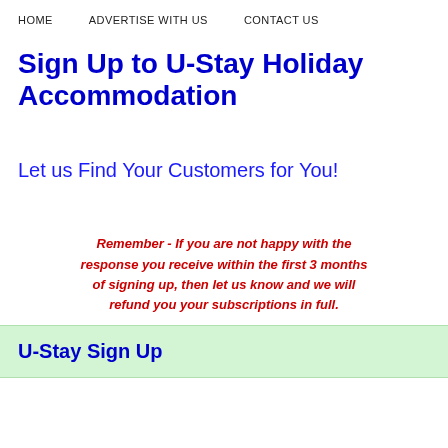HOME   ADVERTISE WITH US   CONTACT US
Sign Up to U-Stay Holiday Accommodation
Let us Find Your Customers for You!
Remember - If you are not happy with the response you receive within the first 3 months of signing up, then let us know and we will refund you your subscriptions in full.
U-Stay Sign Up